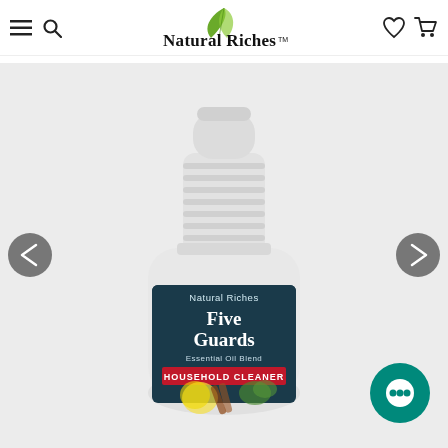Natural Riches™ — navigation bar with menu, search, logo, wishlist, cart
[Figure (photo): A white plastic spray bottle labeled 'Natural Riches Five Guards Essential Oil Blend HOUSEHOLD CLEANER' with a dark teal label featuring herbs, lemon, and cinnamon imagery. The bottle has a ribbed neck and white cap. Background is light gray. Left and right navigation arrows are visible. A teal chat bubble button appears in the bottom right.]